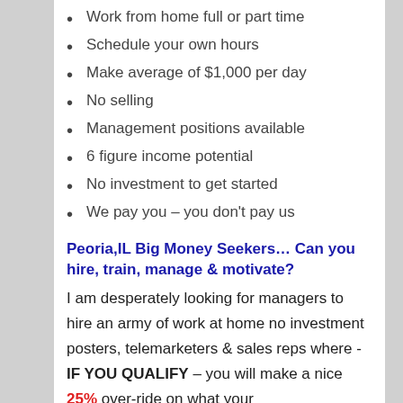Work from home full or part time
Schedule your own hours
Make average of $1,000 per day
No selling
Management positions available
6 figure income potential
No investment to get started
We pay you – you don't pay us
Peoria,IL Big Money Seekers… Can you hire, train, manage & motivate?
I am desperately looking for managers to hire an army of work at home no investment posters, telemarketers & sales reps where - IF YOU QUALIFY – you will make a nice 25% over-ride on what your